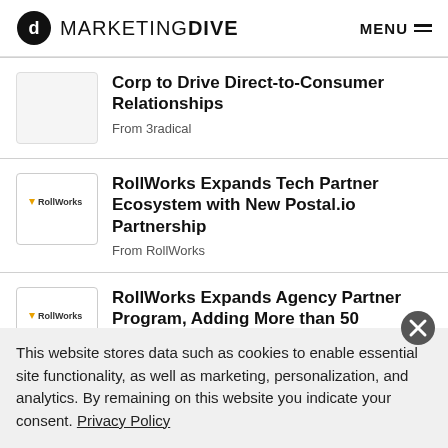MARKETING DIVE | MENU
Corp to Drive Direct-to-Consumer Relationships
From 3radical
RollWorks Expands Tech Partner Ecosystem with New Postal.io Partnership
From RollWorks
RollWorks Expands Agency Partner Program, Adding More than 50
This website stores data such as cookies to enable essential site functionality, as well as marketing, personalization, and analytics. By remaining on this website you indicate your consent. Privacy Policy